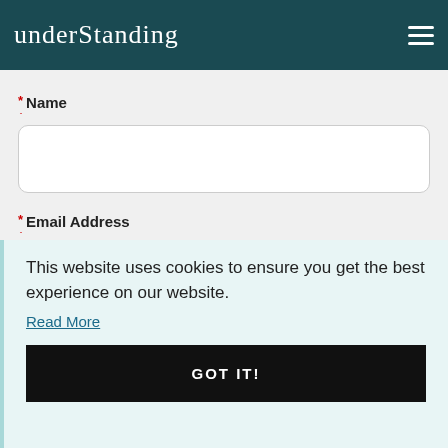understanding
* Name
[Figure (screenshot): Text input field for Name]
* Email Address
This website uses cookies to ensure you get the best experience on our website.
Read More
GOT IT!